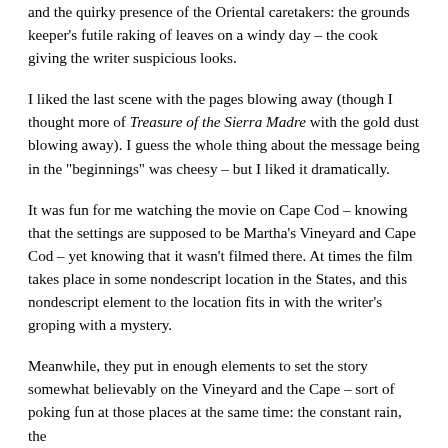and the quirky presence of the Oriental caretakers: the grounds keeper's futile raking of leaves on a windy day – the cook giving the writer suspicious looks.
I liked the last scene with the pages blowing away (though I thought more of Treasure of the Sierra Madre with the gold dust blowing away). I guess the whole thing about the message being in the "beginnings" was cheesy – but I liked it dramatically.
It was fun for me watching the movie on Cape Cod – knowing that the settings are supposed to be Martha's Vineyard and Cape Cod – yet knowing that it wasn't filmed there. At times the film takes place in some nondescript location in the States, and this nondescript element to the location fits in with the writer's groping with a mystery.
Meanwhile, they put in enough elements to set the story somewhat believably on the Vineyard and the Cape – sort of poking fun at those places at the same time: the constant rain, the